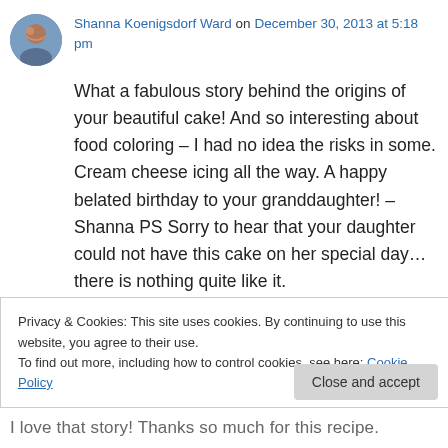Shanna Koenigsdorf Ward on December 30, 2013 at 5:18 pm
What a fabulous story behind the origins of your beautiful cake! And so interesting about food coloring – I had no idea the risks in some. Cream cheese icing all the way. A happy belated birthday to your granddaughter! – Shanna PS Sorry to hear that your daughter could not have this cake on her special day… there is nothing quite like it.
Privacy & Cookies: This site uses cookies. By continuing to use this website, you agree to their use. To find out more, including how to control cookies, see here: Cookie Policy
I love that story! Thanks so much for this recipe.